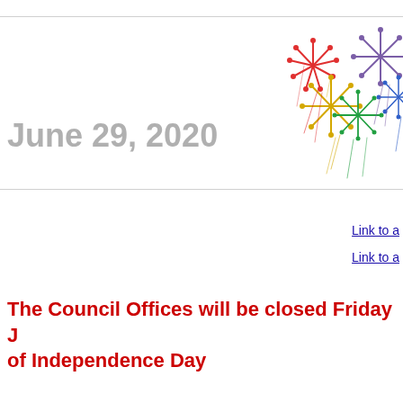June 29, 2020
[Figure (illustration): Colorful fireworks illustration with red, yellow, green, blue, and purple bursts on white background]
Link to a
Link to a
The Council Offices will be closed Friday J of Independence Day